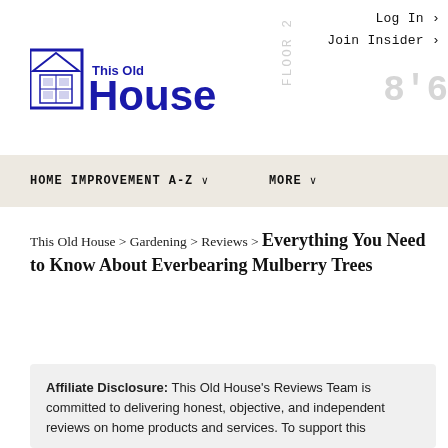Log In ›
Join Insider ›
[Figure (logo): This Old House logo with house icon and bold blue text]
HOME IMPROVEMENT A-Z ∨   MORE ∨
This Old House > Gardening > Reviews > Everything You Need to Know About Everbearing Mulberry Trees
Affiliate Disclosure: This Old House's Reviews Team is committed to delivering honest, objective, and independent reviews on home products and services. To support this